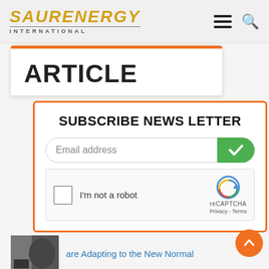SAUR ENERGY INTERNATIONAL
ARTICLE
SUBSCRIBE NEWS LETTER
Email address
I'm not a robot
reCAPTCHA
Privacy - Terms
are Adapting to the New Normal
Green Jobs Are Finally A Mainstream Reality In India, Th...
Application of Silicone